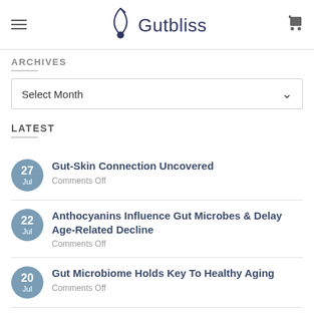Gutbliss
ARCHIVES
Select Month
LATEST
27 Jul — Gut-Skin Connection Uncovered — Comments Off
22 Jul — Anthocyanins Influence Gut Microbes & Delay Age-Related Decline — Comments Off
20 Jul — Gut Microbiome Holds Key To Healthy Aging — Comments Off